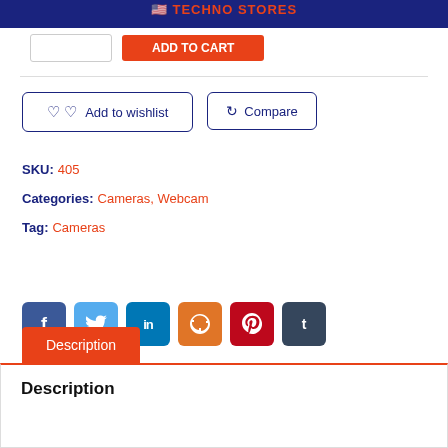TECHNO STORES
Add to wishlist   Compare
SKU: 405
Categories: Cameras, Webcam
Tag: Cameras
[Figure (infographic): Social share icons: Facebook, Twitter, LinkedIn, StumbleUpon, Pinterest, Tumblr]
Description
Description